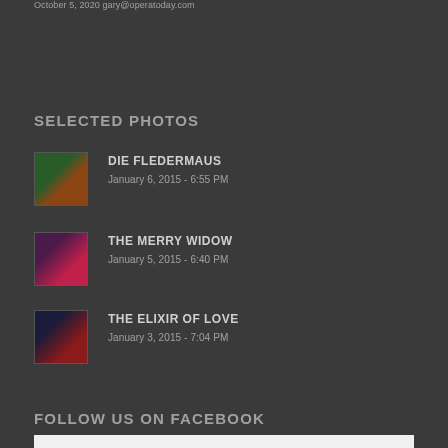October 5, 2020 gary@operatoday.com
SELECTED PHOTOS
DIE FLEDERMAUS
January 6, 2015 - 6:55 PM
THE MERRY WIDOW
January 5, 2015 - 6:40 PM
THE ELIXIR OF LOVE
January 3, 2015 - 7:04 PM
FOLLOW US ON FACEBOOK